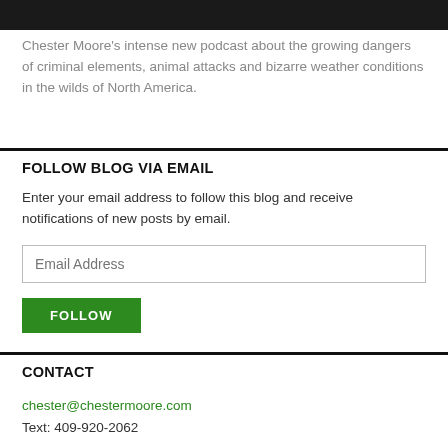[Figure (photo): Dark image bar at the top of the page]
Chester Moore's intense new podcast about the growing dangers of criminal elements, animal attacks and bizarre weather conditions in the wilds of North America.
FOLLOW BLOG VIA EMAIL
Enter your email address to follow this blog and receive notifications of new posts by email.
CONTACT
chester@chestermoore.com
Text: 409-920-2062